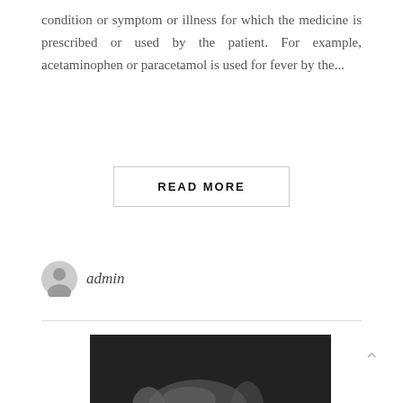condition or symptom or illness for which the medicine is prescribed or used by the patient. For example, acetaminophen or paracetamol is used for fever by the...
READ MORE
admin
[Figure (photo): Black and white photo of a glass pill bottle tipped over with white tablets/pills spilling out onto a dark surface]